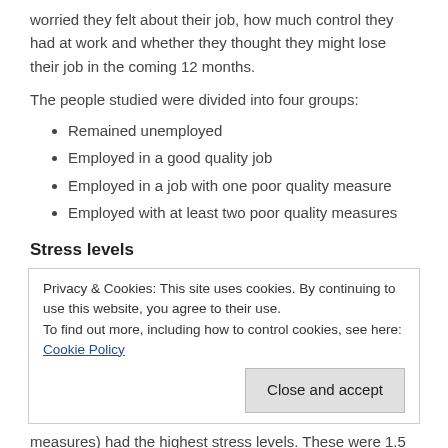worried they felt about their job, how much control they had at work and whether they thought they might lose their job in the coming 12 months.
The people studied were divided into four groups:
Remained unemployed
Employed in a good quality job
Employed in a job with one poor quality measure
Employed with at least two poor quality measures
Stress levels
Privacy & Cookies: This site uses cookies. By continuing to use this website, you agree to their use.
To find out more, including how to control cookies, see here: Cookie Policy
[Close and accept]
measures) had the highest stress levels. These were 1.5